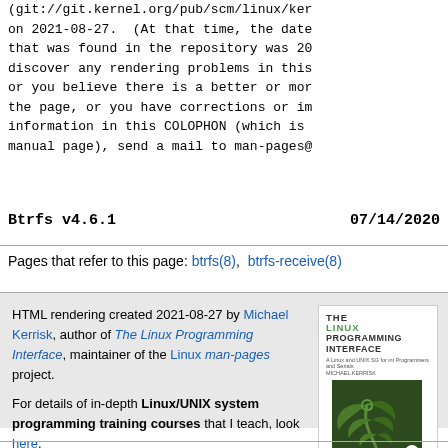(git://git.kernel.org/pub/scm/linux/ker... on 2021-08-27. (At that time, the date... that was found in the repository was 20... discover any rendering problems in this... or you believe there is a better or mor... the page, or you have corrections or im... information in this COLOPHON (which is... manual page), send a mail to man-pages@...
Btrfs v4.6.1    07/14/2020
Pages that refer to this page: btrfs(8), btrfs-receive(8)
HTML rendering created 2021-08-27 by Michael Kerrisk, author of The Linux Programming Interface, maintainer of the Linux man-pages project.

For details of in-depth Linux/UNIX system programming training courses that I teach, look here.

Hosting by jambit GmbH.
[Figure (illustration): Cover of the book 'The Linux Programming Interface' by Michael Kerrisk, showing a fern plant on a white background.]